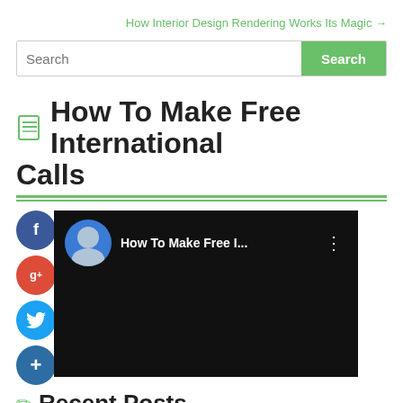How Interior Design Rendering Works Its Magic →
[Figure (screenshot): Search bar with green Search button]
How To Make Free International Calls
[Figure (screenshot): Video thumbnail with black background showing 'How To Make Free I...' title, user avatar, and three-dot menu. Social sharing buttons (Facebook, Google+, Twitter, Plus) on the left side.]
Recent Posts